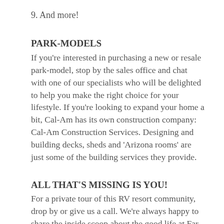9. And more!
PARK-MODELS
If you're interested in purchasing a new or resale park-model, stop by the sales office and chat with one of our specialists who will be delighted to help you make the right choice for your lifestyle. If you're looking to expand your home a bit, Cal-Am has its own construction company: Cal-Am Construction Services. Designing and building decks, sheds and 'Arizona rooms' are just some of the building services they provide.
ALL THAT'S MISSING IS YOU!
For a private tour of this RV resort community, drop by or give us a call. We're always happy to share the inside scoop about the good life at Far Horizons RV Resort!
During the winter season, come and knock...